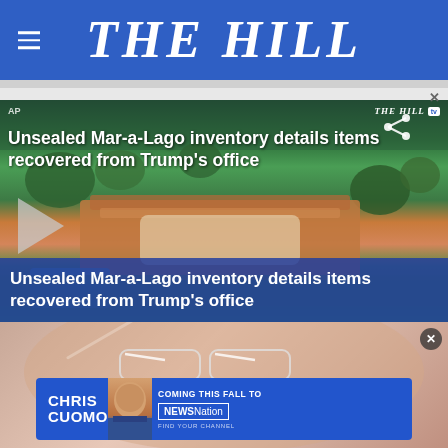THE HILL
[Figure (screenshot): Video thumbnail showing aerial view of Mar-a-Lago estate with overlay title 'Unsealed Mar-a-Lago inventory details items recovered from Trump's office', play button, and THE HILL TV logo]
Unsealed Mar-a-Lago inventory details items recovered from Trump's office
[Figure (photo): Advertisement showing close-up of person's face and Chris Cuomo coming to NewsNation promotional banner]